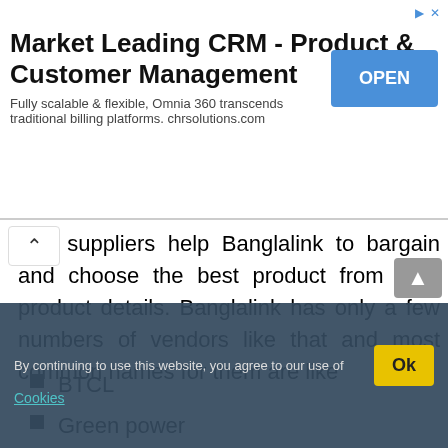[Figure (screenshot): Advertisement banner for Market Leading CRM - Product & Customer Management. Text reads: 'Market Leading CRM - Product & Customer Management. Fully scalable & flexible, Omnia 360 transcends traditional billing platforms. chrsolutions.com' with a blue OPEN button.]
ular suppliers help Banglalink to bargain and choose the best product from their product details. Banglalink has only a few numbers of vendors like that and most common names for them are like
BTCL
Green power
Mango telecom
Irregular vendors are those who provide support occasionally like for marketing promotions and making festoons for Banglalink. Besides, they are not the actual vendors that are used for the daily